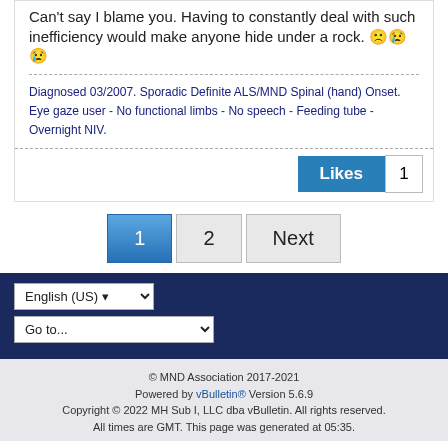Can't say I blame you. Having to constantly deal with such inefficiency would make anyone hide under a rock. 🙁😢😢
Diagnosed 03/2007. Sporadic Definite ALS/MND Spinal (hand) Onset.
Eye gaze user - No functional limbs - No speech - Feeding tube - Overnight NIV.
Likes  1
1  2  Next
English (US)
Go to...
© MND Association 2017-2021
Powered by vBulletin® Version 5.6.9
Copyright © 2022 MH Sub I, LLC dba vBulletin. All rights reserved.
All times are GMT. This page was generated at 05:35.